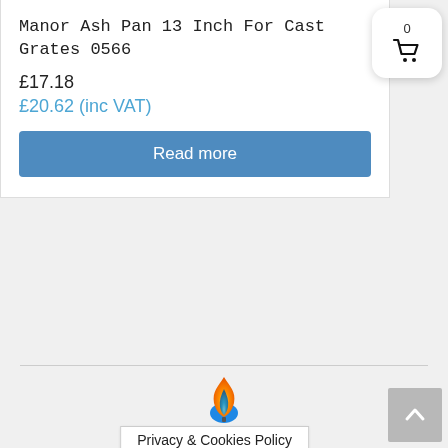Manor Ash Pan 13 Inch For Cast Grates 0566
£17.18
£20.62 (inc VAT)
Read more
[Figure (logo): Flame logo icon with blue, orange and yellow colors]
Privacy & Cookies Policy
0